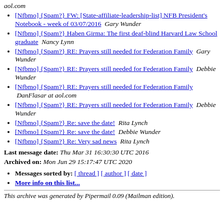aol.com
[Nfbmo] {Spam?} FW: [State-affiliate-leadership-list] NFB President's Notebook - week of 03/07/2016  Gary Wunder
[Nfbmo] {Spam?} Haben Girma: The first deaf-blind Harvard Law School graduate  Nancy Lynn
[Nfbmo] {Spam?} RE: Prayers still needed for Federation Family  Gary Wunder
[Nfbmo] {Spam?} RE: Prayers still needed for Federation Family  Debbie Wunder
[Nfbmo] {Spam?} RE: Prayers still needed for Federation Family  DanFlasar at aol.com
[Nfbmo] {Spam?} RE: Prayers still needed for Federation Family  Debbie Wunder
[Nfbmo] {Spam?} Re: save the date!  Rita Lynch
[Nfbmo] {Spam?} Re: save the date!  Debbie Wunder
[Nfbmo] {Spam?} Re: Very sad news  Rita Lynch
Last message date: Thu Mar 31 16:30:30 UTC 2016
Archived on: Mon Jun 29 15:17:47 UTC 2020
Messages sorted by: [ thread ] [ author ] [ date ]
More info on this list...
This archive was generated by Pipermail 0.09 (Mailman edition).